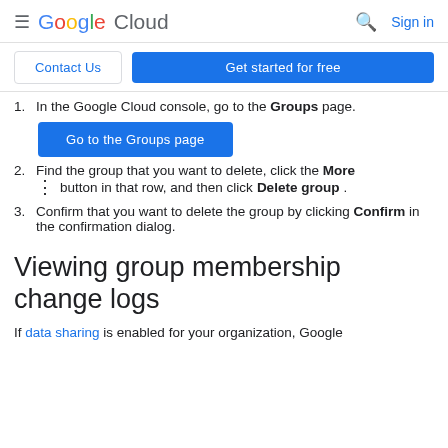Google Cloud | Sign in
Contact Us | Get started for free
1. In the Google Cloud console, go to the Groups page.
[Figure (other): Blue button: Go to the Groups page]
2. Find the group that you want to delete, click the More (vertical ellipsis) button in that row, and then click Delete group.
3. Confirm that you want to delete the group by clicking Confirm in the confirmation dialog.
Viewing group membership change logs
If data sharing is enabled for your organization, Google